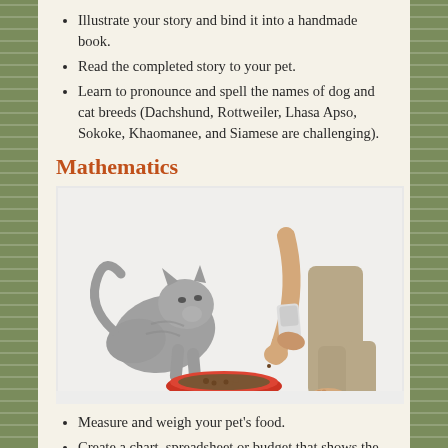Illustrate your story and bind it into a handmade book.
Read the completed story to your pet.
Learn to pronounce and spell the names of dog and cat breeds (Dachshund, Rottweiler, Lhasa Apso, Sokoke, Khaomanee, and Siamese are challenging).
Mathematics
[Figure (photo): A child pouring pet food from a scoop into a red bowl, with a grey cat watching and approaching the bowl. White background.]
Measure and weigh your pet's food.
Create a chart, spreadsheet or budget that shows the weekly cost of food.